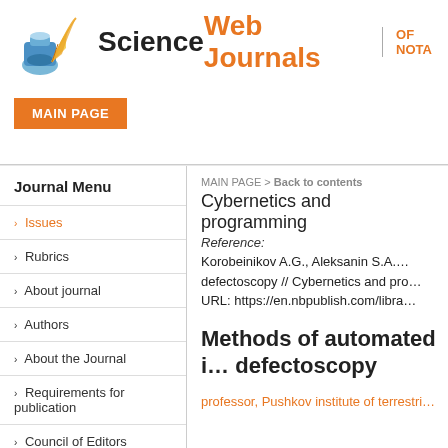Science Web Journals | OF NOTA
MAIN PAGE
Journal Menu
› Issues
› Rubrics
› About journal
› Authors
› About the Journal
› Requirements for publication
› Council of Editors
› Peer review process
MAIN PAGE > Back to contents
Cybernetics and programming
Reference:
Korobeinikov A.G., Aleksanin S.A. defectoscopy // Cybernetics and pro… URL: https://en.nbpublish.com/libra…
Methods of automated i… defectoscopy
professor, Pushkov institute of terrestri…